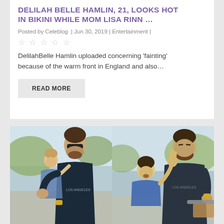DELILAH BELLE HAMLIN, 21, LOOKS HOT IN BIKINI WHILE MOM LISA RINN …
Posted by Celeblog | Jun 30, 2019 | Entertainment |
☆☆☆☆☆
DelilahBelle Hamlin uploaded concerning 'fainting' because of the warm front in England and also...
READ MORE
[Figure (photo): Two side-by-side photos of a man with dark hair and beard. Left photo: man holding a young toddler child outdoors. Right photo: man gesturing with hand raised near a boy, outdoors.]